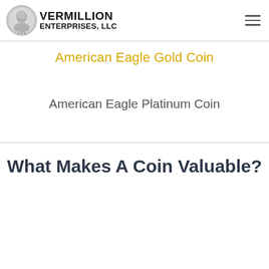Vermillion Enterprises, LLC
American Eagle Gold Coin
American Eagle Platinum Coin
What Makes A Coin Valuable?